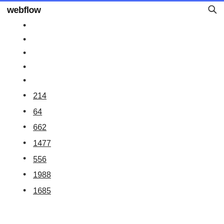webflow
214
64
662
1477
556
1988
1685